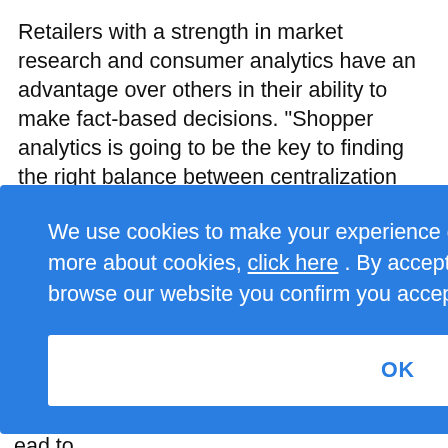Retailers with a strength in market research and consumer analytics have an advantage over others in their ability to make fact-based decisions. "Shopper analytics is going to be the key to finding the right balance between centralization and decentralization," Noreen says.
We use cookies to make your experience of our website better. To find out more about cookies, click here . By accepting this notice and continuing to browse our website you confirm you accept our Privacy Policy
OK
...rch is ...kets ...al ...ead to new ideas. It also can allow the company to tailor